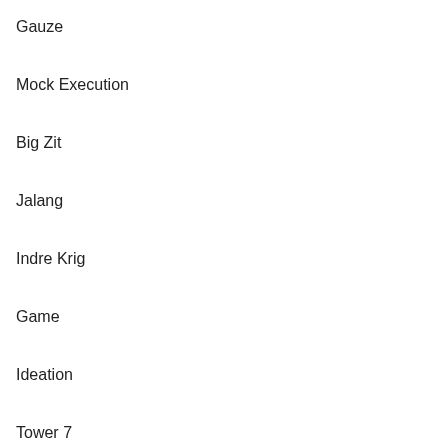Gauze
Mock Execution
Big Zit
Jalang
Indre Krig
Game
Ideation
Tower 7